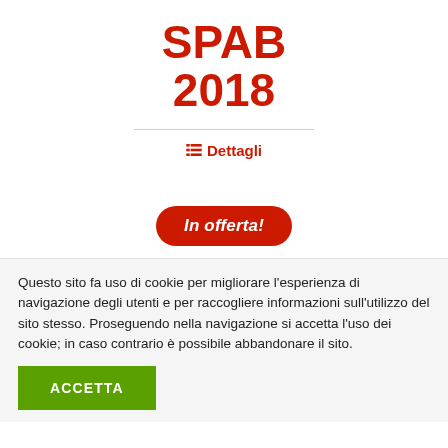SPAB 2018
≡ Dettagli
In offerta!
Questo sito fa uso di cookie per migliorare l'esperienza di navigazione degli utenti e per raccogliere informazioni sull'utilizzo del sito stesso. Proseguendo nella navigazione si accetta l'uso dei cookie; in caso contrario è possibile abbandonare il sito.
ACCETTA